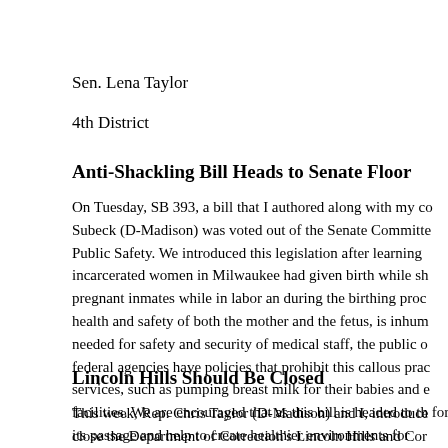Sen. Lena Taylor
4th District
Anti-Shackling Bill Heads to Senate Floor
On Tuesday, SB 393, a bill that I authored along with my co Subeck (D-Madison) was voted out of the Senate Committe Public Safety. We introduced this legislation after learning incarcerated women in Milwaukee had given birth while sh pregnant inmates while in labor an during the birthing proc health and safety of both the mother and the fetus, is inhum needed for safety and security of medical staff, the public o federal agencies have policies that prohibit this callous prac services, such as pumping breast milk for their babies and e facilities. We are encouraged that as this bill is headed to th for its passage and help to create healthier environments for
Lincoln Hills Should Be Closed
This week, Rep. Chris Taylor (D-Madison) and I, introduce close the Department of Correction's Lincoln Hills and Cor